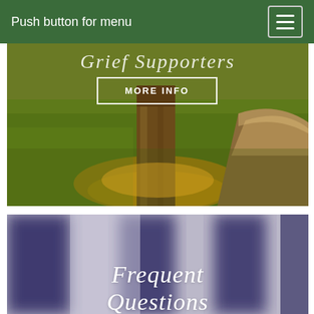Push button for menu
[Figure (photo): Outdoor scene with a large tree trunk and a wooden bench on green grass with golden highlights]
MORE INFO
[Figure (photo): Blurred dark navy/purple vertical columns with soft light background, suggesting interior columns or pillars]
Frequent Questions